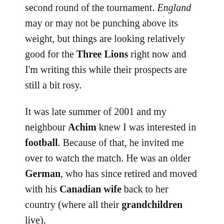second round of the tournament. England may or may not be punching above its weight, but things are looking relatively good for the Three Lions right now and I'm writing this while their prospects are still a bit rosy.
It was late summer of 2001 and my neighbour Achim knew I was interested in football. Because of that, he invited me over to watch the match. He was an older German, who has since retired and moved with his Canadian wife back to her country (where all their grandchildren live).
The sad part of the story is that it wasn't entirely certain whether Achim would live through the evening. I'm not exaggerating. Not remotely.
England was visiting and playing here in Munich and